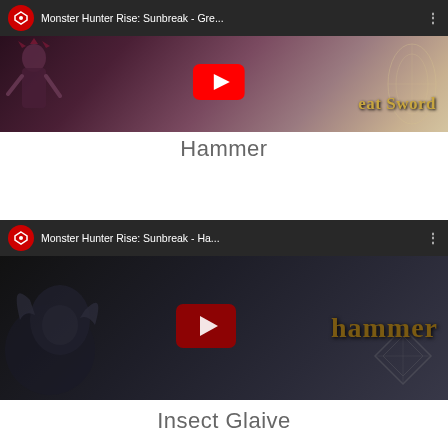[Figure (screenshot): YouTube video thumbnail for Monster Hunter Rise: Sunbreak - Great Sword. Shows a dark game scene with a character in armor, a YouTube play button, and partially visible text 'eat Sword' in gold lettering.]
Hammer
[Figure (screenshot): YouTube video thumbnail for Monster Hunter Rise: Sunbreak - Hammer. Shows a dark game scene with a character, a YouTube play button (dark red), and 'hammer' text in gold. Channel icon visible in header.]
Insect Glaive